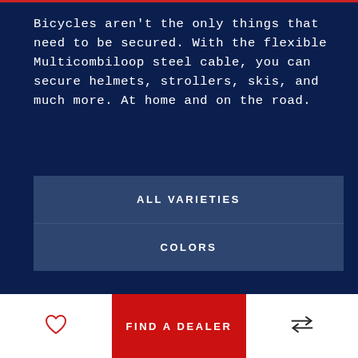Bicycles aren't the only things that need to be secured. With the flexible Multicombiloop steel cable, you can secure helmets, strollers, skis, and much more. At home and on the road.
ALL VARIETIES
COLORS
FIND A DEALER